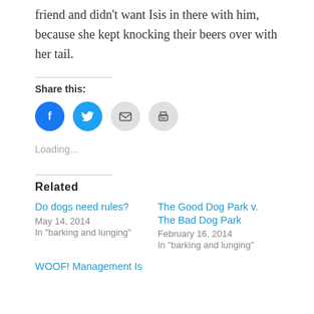friend and didn't want Isis in there with him, because she kept knocking their beers over with her tail.
Share this:
[Figure (infographic): Social share icons: Facebook (blue circle), Twitter (blue circle), Email (grey circle), Print (grey circle)]
Loading...
Related
Do dogs need rules?
May 14, 2014
In "barking and lunging"
The Good Dog Park v. The Bad Dog Park
February 16, 2014
In "barking and lunging"
WOOF! Management Is